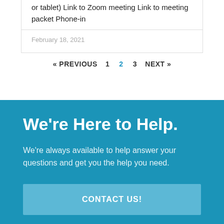or tablet) Link to Zoom meeting Link to meeting packet Phone-in
February 18, 2021
« PREVIOUS  1  2  3  NEXT »
We're Here to Help.
We're always available to help answer your questions and get you the help you need.
CONTACT US!